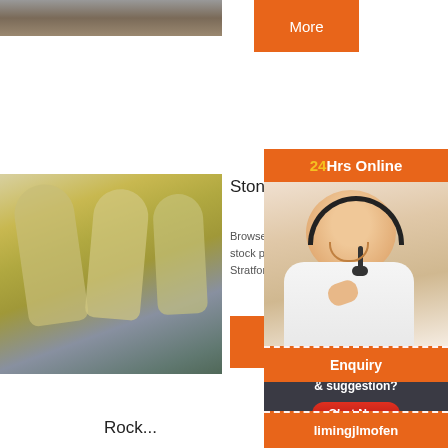[Figure (photo): Top photo of stone/rock material, partially visible at top of page]
[Figure (other): Orange 'More' button at top right]
[Figure (photo): Photo of industrial stone crusher equipment - yellow industrial machinery in a factory/warehouse setting]
Stone Crusher Photos a
Browse 209 sto... ho... stock photos a... ubl... Stratford, east l... e c...
[Figure (other): Orange 'More' button]
[Figure (photo): Overlay widget showing a woman with headset (customer service), with '24Hrs Online' header in orange, 'Need questions & suggestion?' text, 'Chat Now' button, 'Enquiry' and 'limingjlmofen' links]
24Hrs Online
Need questions & suggestion?
Chat Now
Enquiry
limingjlmofen
Rock...